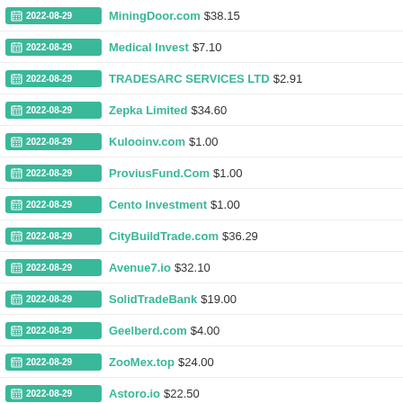2022-08-29 MiningDoor.com $38.15
2022-08-29 Medical Invest $7.10
2022-08-29 TRADESARC SERVICES LTD $2.91
2022-08-29 Zepka Limited $34.60
2022-08-29 Kulooinv.com $1.00
2022-08-29 ProviusFund.Com $1.00
2022-08-29 Cento Investment $1.00
2022-08-29 CityBuildTrade.com $36.29
2022-08-29 Avenue7.io $32.10
2022-08-29 SolidTradeBank $19.00
2022-08-29 Geelberd.com $4.00
2022-08-29 ZooMex.top $24.00
2022-08-29 Astoro.io $22.50
TOP ROI PROGRAMS
1 CityBuildTrade.com 7611%
2 OnlineDividends 1406%
3 BitcoBid Limited 984%